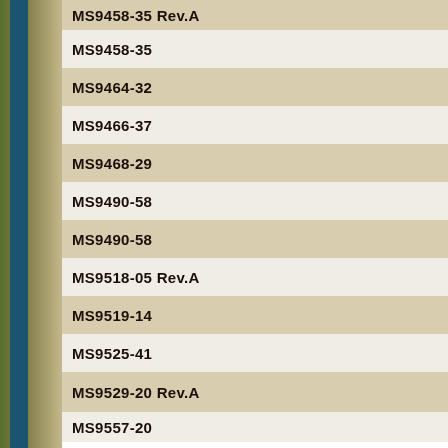MS9458-35 Rev.A
MS9458-35
MS9464-32
MS9466-37
MS9468-29
MS9490-58
MS9490-58
MS9518-05 Rev.A
MS9519-14
MS9525-41
MS9529-20 Rev.A
MS9557-20